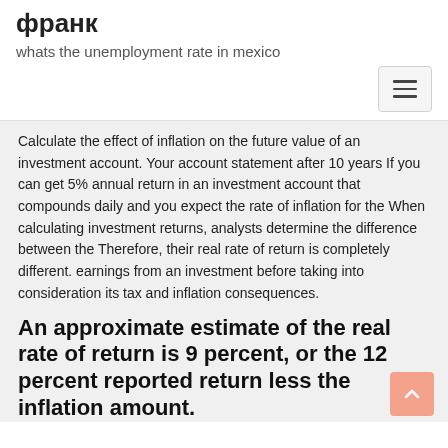франк
whats the unemployment rate in mexico
Calculate the effect of inflation on the future value of an investment account. Your account statement after 10 years If you can get 5% annual return in an investment account that compounds daily and you expect the rate of inflation for the When calculating investment returns, analysts determine the difference between the Therefore, their real rate of return is completely different. earnings from an investment before taking into consideration its tax and inflation consequences.
An approximate estimate of the real rate of return is 9 percent, or the 12 percent reported return less the inflation amount.